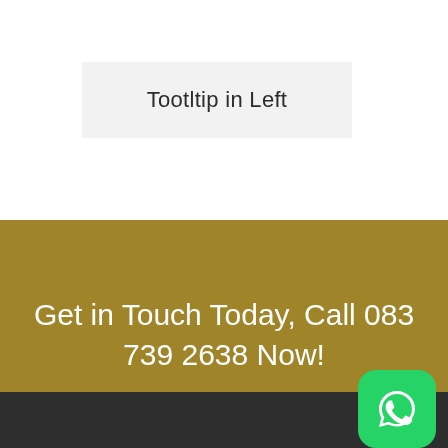[Figure (screenshot): A button/widget element labeled 'Tootltip in Left' with a light gray background]
Get in Touch Today, Call 083 739 2638 Now!
[Figure (logo): WhatsApp icon — white speech bubble with phone handset on green rounded-square background]